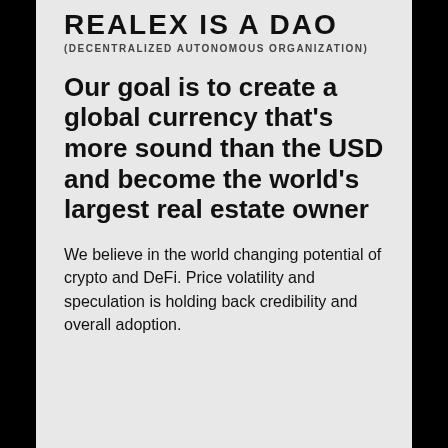REALEX IS A DAO
(DECENTRALIZED AUTONOMOUS ORGANIZATION)
Our goal is to create a global currency that's more sound than the USD and become the world's largest real estate owner
We believe in the world changing potential of crypto and DeFi. Price volatility and speculation is holding back credibility and overall adoption.